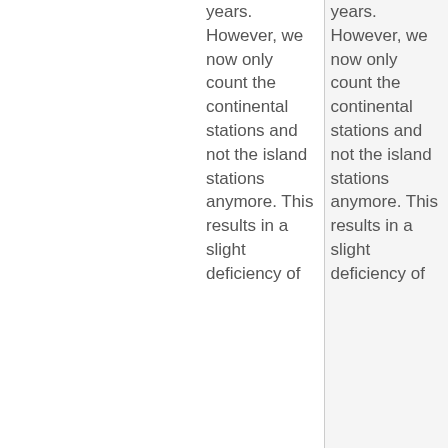years. However, we now only count the continental stations and not the island stations anymore. This results in a slight deficiency of
years. However, we now only count the continental stations and not the island stations anymore. This results in a slight deficiency of